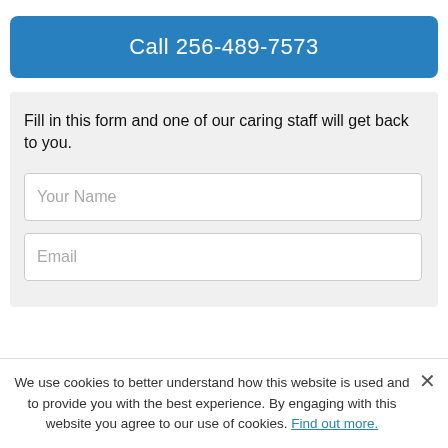Call 256-489-7573
Fill in this form and one of our caring staff will get back to you.
Your Name
Email
We use cookies to better understand how this website is used and to provide you with the best experience. By engaging with this website you agree to our use of cookies. Find out more.